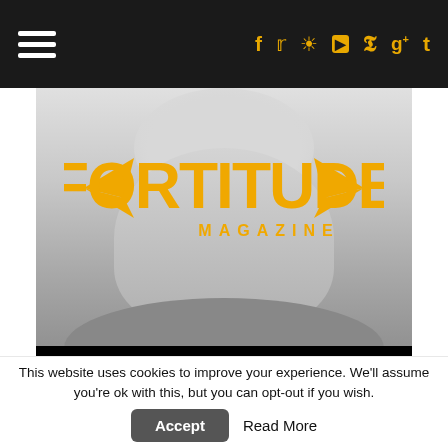Fortitude Magazine — navigation bar with hamburger menu and social icons
[Figure (photo): Fortitude Magazine logo overlaid on grayscale photo of man's face/neck, with black bar at bottom of image]
Author: Sean Drake
[Figure (logo): Twitter bird icon in black rounded square button]
This website uses cookies to improve your experience. We'll assume you're ok with this, but you can opt-out if you wish.
Accept
Read More